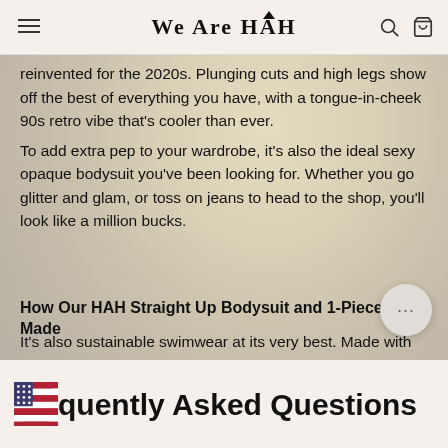We Are HAH
reinvented for the 2020s. Plunging cuts and high legs show off the best of everything you have, with a tongue-in-cheek 90s retro vibe that's cooler than ever.
To add extra pep to your wardrobe, it's also the ideal sexy opaque bodysuit you've been looking for. Whether you go glitter and glam, or toss on jeans to head to the shop, you'll look like a million bucks.
How Our HAH Straight Up Bodysuit and 1-Piece Is Made
It's also sustainable swimwear at its very best. Made with our eco-friendly EFL corn sugar fabric, it's soft to touch, delightful to wear, and earth friendly. It won't dig into your legs, but instead shape itself around your curves for a look that's elegant and classic.
Frequently Asked Questions